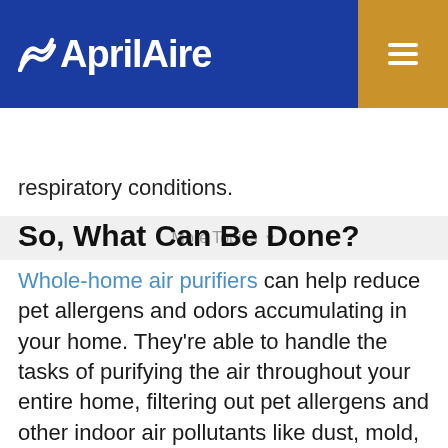AprilAire
respiratory conditions.
So, What Can Be Done?
Whole-home air purifiers can help reduce pet allergens and odors accumulating in your home. They're able to handle the tasks of purifying the air throughout your entire home, filtering out pet allergens and other indoor air pollutants like dust, mold, and more.